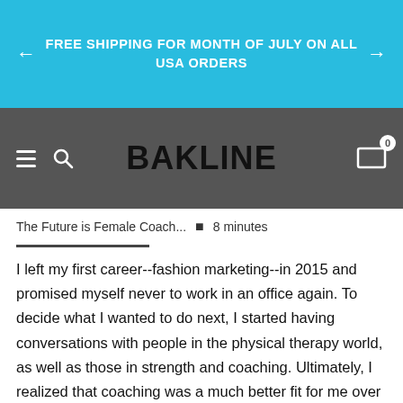FREE SHIPPING FOR MONTH OF JULY ON ALL USA ORDERS
BAKLINE
The Future is Female Coach... • 8 minutes
I left my first career--fashion marketing--in 2015 and promised myself never to work in an office again. To decide what I wanted to do next, I started having conversations with people in the physical therapy world, as well as those in strength and coaching. Ultimately, I realized that coaching was a much better fit for me over PT, and that at the end of the day, if I could work with people and share my passion for fitness and sport, I would be happiest.